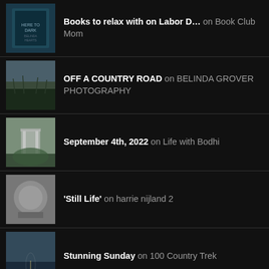Books to relax with on Labor D… on Book Club Mom
OFF A COUNTRY ROAD on BELINDA GROVER PHOTOGRAPHY
September 4th, 2022 on Life with Bodhi
'Still Life' on harrie nijland 2
Stunning Sunday on 100 Country Trek
Can you see me? on Vova Zinger's Photoblog
Art From The Heart on David Redpath
The Hilly Path on HANNA'S WALK